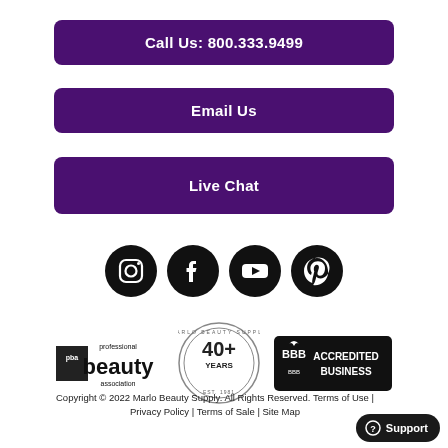Call Us: 800.333.9499
Email Us
Live Chat
[Figure (infographic): Social media icons: Instagram, Facebook, YouTube, Pinterest]
[Figure (infographic): Three badges: Professional Beauty Association, Marlo Beauty Supply 40+ Years Est. 1981, BBB Accredited Business]
Copyright © 2022 Marlo Beauty Supply. All Rights Reserved. Terms of Use | Privacy Policy | Terms of Sale | Site Map